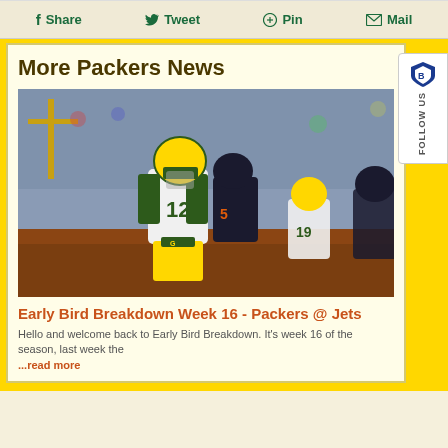Social share buttons: Share, Tweet, Pin, Mail
Share  Tweet  Pin  Mail
More Packers News
[Figure (photo): Green Bay Packers player #12 in white and gold uniform with head down on football field, Chicago Bears player in dark jersey behind, another Packers player #19 in background]
Early Bird Breakdown Week 16 - Packers @ Jets
Hello and welcome back to Early Bird Breakdown. It's week 16 of the season, last week the ...read more